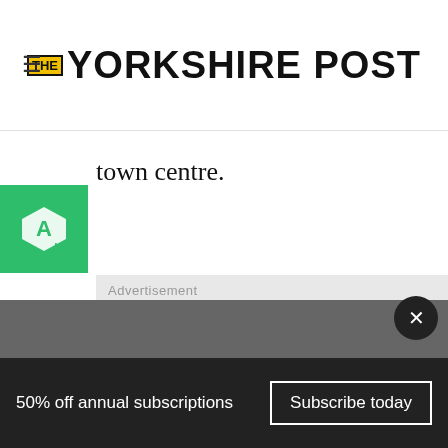THE YORKSHIRE POST
town centre.
[Figure (other): Advertisement placeholder box with label 'Advertisement' in light gray]
Bingley police station has not been used by officers since 2015
50% off annual subscriptions
Subscribe today